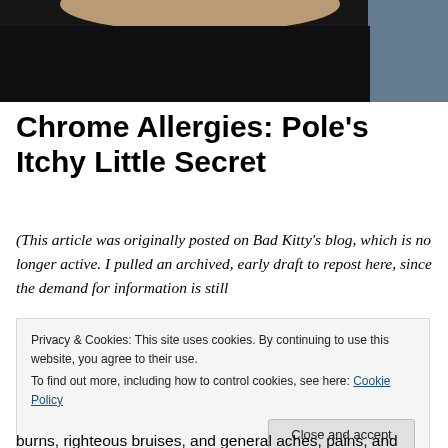[Figure (photo): Close-up photo of a person's midriff wearing dark/black clothing, with a light blue background visible on the right side.]
Chrome Allergies: Pole’s Itchy Little Secret
(This article was originally posted on Bad Kitty’s blog, which is no longer active. I pulled an archived, early draft to repost here, since the demand for information is still
Privacy & Cookies: This site uses cookies. By continuing to use this website, you agree to their use.
To find out more, including how to control cookies, see here: Cookie Policy
burns, righteous bruises, and general aches, pains, and